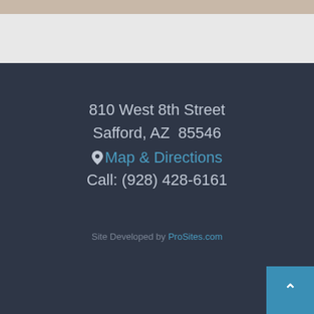[Figure (photo): Partial view of a person's face/head, cropped at top of page]
810 West 8th Street
Safford, AZ  85546
Map & Directions
Call: (928) 428-6161
Site Developed by ProSites.com